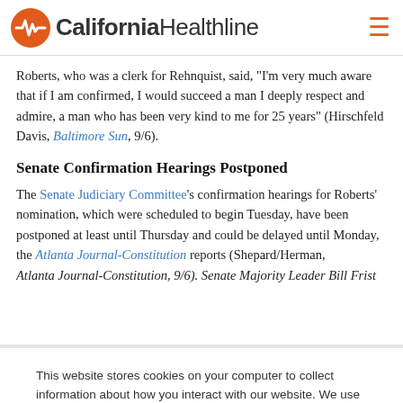California Healthline
Roberts, who was a clerk for Rehnquist, said, "I'm very much aware that if I am confirmed, I would succeed a man I deeply respect and admire, a man who has been very kind to me for 25 years" (Hirschfeld Davis, Baltimore Sun, 9/6).
Senate Confirmation Hearings Postponed
The Senate Judiciary Committee's confirmation hearings for Roberts' nomination, which were scheduled to begin Tuesday, have been postponed at least until Thursday and could be delayed until Monday, the Atlanta Journal-Constitution reports (Shepard/Herman, Atlanta Journal-Constitution, 9/6). Senate Majority Leader Bill Frist
This website stores cookies on your computer to collect information about how you interact with our website. We use this information in order to improve and customize your browsing experience and for analytics and metrics about our visitors both on this website and other media. To find out more about the cookies we use, see our Privacy Policy.